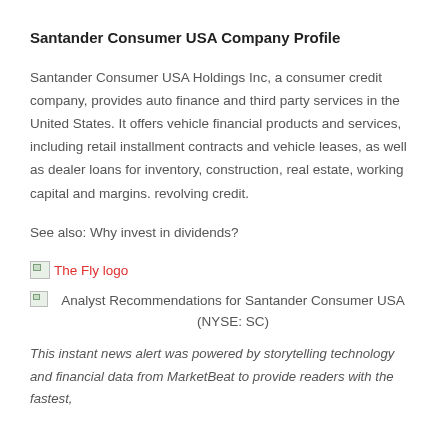Santander Consumer USA Company Profile
Santander Consumer USA Holdings Inc, a consumer credit company, provides auto finance and third party services in the United States. It offers vehicle financial products and services, including retail installment contracts and vehicle leases, as well as dealer loans for inventory, construction, real estate, working capital and margins. revolving credit.
See also: Why invest in dividends?
[Figure (logo): The Fly logo — broken image placeholder with red text 'The Fly logo']
[Figure (other): Analyst Recommendations for Santander Consumer USA (NYSE: SC) — broken image placeholder with caption]
This instant news alert was powered by storytelling technology and financial data from MarketBeat to provide readers with the fastest,